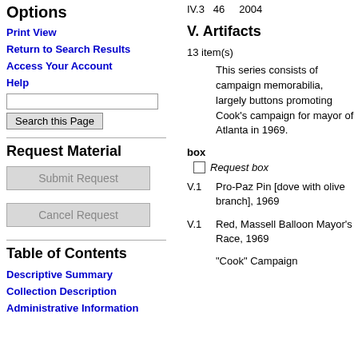Options
Print View
Return to Search Results
Access Your Account
Help
Request Material
Table of Contents
Descriptive Summary
Collection Description
Administrative Information
IV.3  46  2004
V. Artifacts
13 item(s)
This series consists of campaign memorabilia, largely buttons promoting Cook's campaign for mayor of Atlanta in 1969.
box
Request box
V.1   Pro-Paz Pin [dove with olive branch], 1969
V.1   Red, Massell Balloon Mayor's Race, 1969
"Cook" Campaign